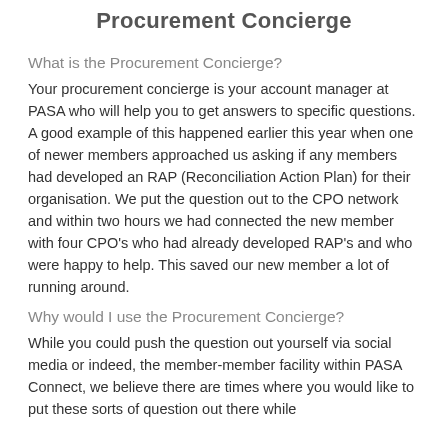Procurement Concierge
What is the Procurement Concierge?
Your procurement concierge is your account manager at PASA who will help you to get answers to specific questions. A good example of this happened earlier this year when one of newer members approached us asking if any members had developed an RAP (Reconciliation Action Plan) for their organisation. We put the question out to the CPO network and within two hours we had connected the new member with four CPO's who had already developed RAP's and who were happy to help. This saved our new member a lot of running around.
Why would I use the Procurement Concierge?
While you could push the question out yourself via social media or indeed, the member-member facility within PASA Connect, we believe there are times where you would like to put these sorts of question out there while